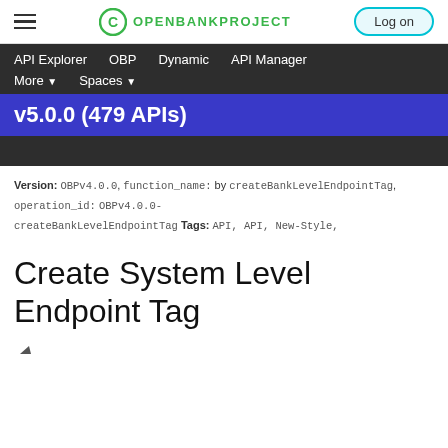OPENBANKPROJECT | Log on
API Explorer   OBP   Dynamic   API Manager   More ▾   Spaces ▾
v5.0.0 (479 APIs)
Version: OBPv4.0.0, function_name: by createBankLevelEndpointTag, operation_id: OBPv4.0.0-createBankLevelEndpointTag Tags: API, API, New-Style,
Create System Level Endpoint Tag